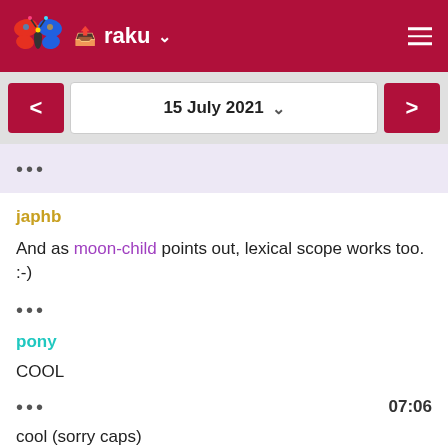raku
15 July 2021
•••
japhb
And as moon-child points out, lexical scope works too. :-)
•••
pony
COOL
••• 07:06
cool (sorry caps)